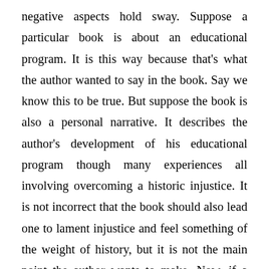negative aspects hold sway. Suppose a particular book is about an educational program. It is this way because that's what the author wanted to say in the book. Say we know this to be true. But suppose the book is also a personal narrative. It describes the author's development of his educational program though many experiences all involving overcoming a historic injustice. It is not incorrect that the book should also lead one to lament injustice and feel something of the weight of history, but it is not the main point the author wants to make. Now, if a person focuses away from the author's main points and to the sub-points due to his cultural background beliefs, then those background beliefs have, to some degree, negatively affected his interpretation of the text. In contrast, when a person's background beliefs aid her ordering of sentences more in line with the author's intentions, then they have